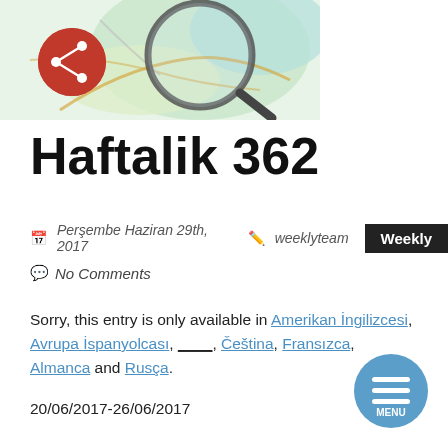[Figure (illustration): Website banner image showing a map with a magnifying glass and a red location pin/share icon in the top-left corner]
Haftalik 362
Perşembe Haziran 29th, 2017  weeklyteam  Weekly
No Comments
Sorry, this entry is only available in Amerikan İngilizcesi, Avrupa İspanyolcası, ___, Čeština, Fransızca, Almanca and Rusça.
20/06/2017-26/06/2017